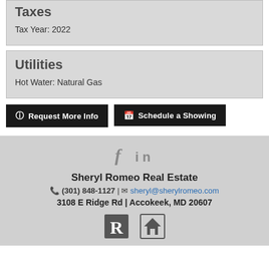Taxes
Tax Year: 2022
Utilities
Hot Water: Natural Gas
Request More Info
Schedule a Showing
Sheryl Romeo Real Estate
(301) 848-1127 | sheryl@sherylromeo.com
3108 E Ridge Rd | Accokeek, MD 20607